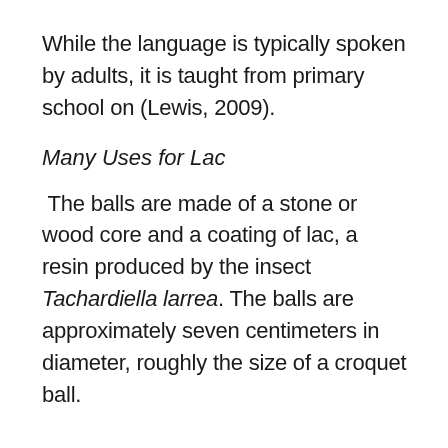While the language is typically spoken by adults, it is taught from primary school on (Lewis, 2009).
Many Uses for Lac
The balls are made of a stone or wood core and a coating of lac, a resin produced by the insect Tachardiella larrea. The balls are approximately seven centimeters in diameter, roughly the size of a croquet ball.